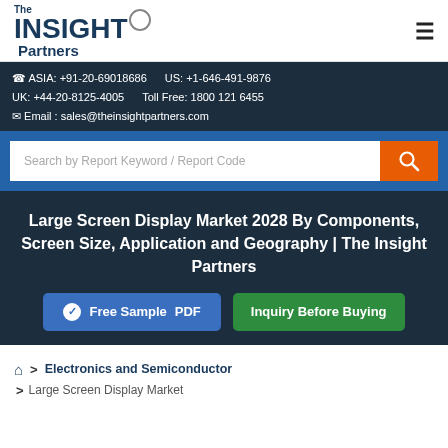[Figure (logo): The Insight Partners logo with magnifying glass icon]
ASIA: +91-20-69018686    US: +1-646-491-9876
UK: +44-20-8125-4005    Toll Free: 1800 121 6455
Email : sales@theinsightpartners.com
[Figure (screenshot): Search bar with placeholder text 'Search by Report Keyword / Report Code' and orange search button]
Large Screen Display Market 2028 By Components, Screen Size, Application and Geography | The Insight Partners
Free Sample PDF
Inquiry Before Buying
> Electronics and Semiconductor
> Large Screen Display Market